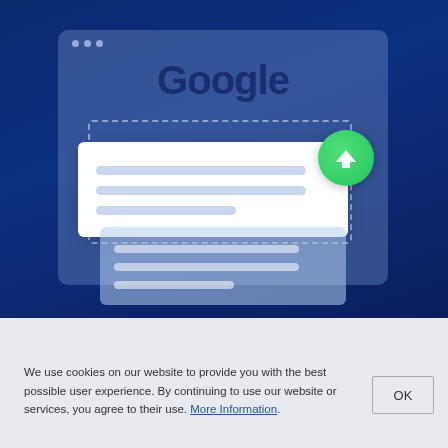[Figure (illustration): Illustration of a browser window with the Google logo, a white card with placeholder text lines, an upload/upvote green circle button with an upward arrow, and a blue content card below, all on a deep blue gradient background.]
We use cookies on our website to provide you with the best possible user experience. By continuing to use our website or services, you agree to their use. More Information.